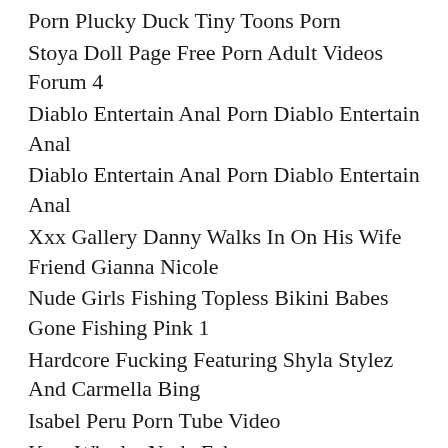Porn Plucky Duck Tiny Toons Porn
Stoya Doll Page Free Porn Adult Videos Forum 4
Diablo Entertain Anal Porn Diablo Entertain Anal
Diablo Entertain Anal Porn Diablo Entertain Anal
Xxx Gallery Danny Walks In On His Wife Friend Gianna Nicole
Nude Girls Fishing Topless Bikini Babes Gone Fishing Pink 1
Hardcore Fucking Featuring Shyla Stylez And Carmella Bing
Isabel Peru Porn Tube Video
Kate Winslet Nude Fake
Naruto Hentai Todas As Garotas Hinata Hyuuga Shippuden 1
Japanese Hardcore Wallpaper Xxx
August Ames Porn Videos August Ames Porn